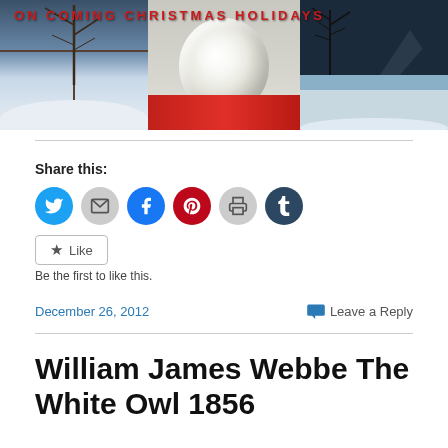[Figure (photo): A photo strip showing three panels: left panel with a snowy window scene, center panel with a white fluffy owl or bird head against pale background with red fabric below, right panel with a blue-tinted winter tree scene. Red squiggly text overlay visible at top.]
Share this:
[Figure (infographic): Row of six circular social sharing icons: Twitter (blue), Email (gray), Facebook (blue), Pinterest (red), Print (gray), Tumblr (dark navy)]
Like
Be the first to like this.
December 26, 2012
Leave a Reply
William James Webbe The White Owl 1856